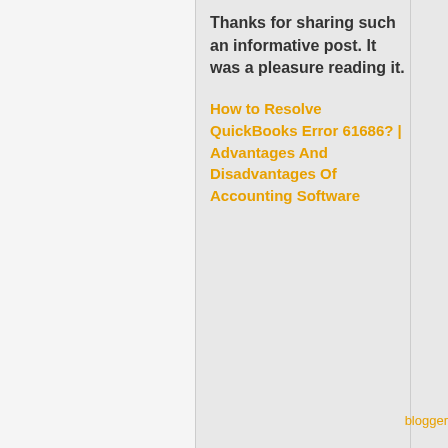Thanks for sharing such an informative post. It was a pleasure reading it.
How to Resolve QuickBooks Error 61686? | Advantages And Disadvantages Of Accounting Software
Subscribe by Email Get Free Updates
Enter your Email Address
Subscribe
Don't Forget To Join US Our Community